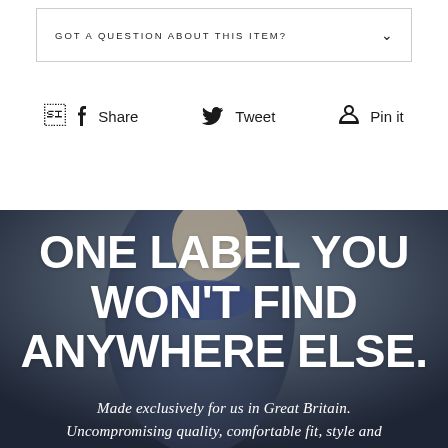GOT A QUESTION ABOUT THIS ITEM?
Share  Tweet  Pin it
[Figure (photo): Man wearing a blue sweater over a white collared shirt, photographed against a dark grey background. Large white text overlay reads: ONE LABEL YOU WON'T FIND ANYWHERE ELSE. Below in serif italic: Made exclusively for us in Great Britain. Uncompromising quality, comfortable fit, style and]
ONE LABEL YOU WON'T FIND ANYWHERE ELSE.
Made exclusively for us in Great Britain. Uncompromising quality, comfortable fit, style and